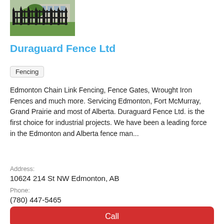[Figure (photo): Photo of a black metal fence with grass and a building in the background]
Duraguard Fence Ltd
Fencing
Edmonton Chain Link Fencing, Fence Gates, Wrought Iron Fences and much more. Servicing Edmonton, Fort McMurray, Grand Prairie and most of Alberta. Duraguard Fence Ltd. is the first choice for industrial projects. We have been a leading force in the Edmonton and Alberta fence man...
Address:
10624 214 St NW Edmonton, AB
Phone:
(780) 447-5465